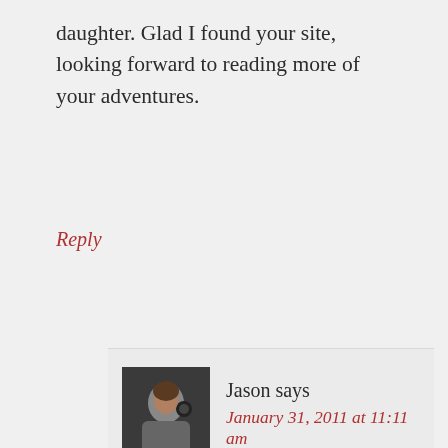daughter. Glad I found your site, looking forward to reading more of your adventures.
Reply
Jason says
January 31, 2011 at 11:11 am
Hi Chaya. I am glad you enjoyed the post. That is a great point you make about using the phone for setting up play dates for children as you travel. I am sure we will be using ours for the same thing!